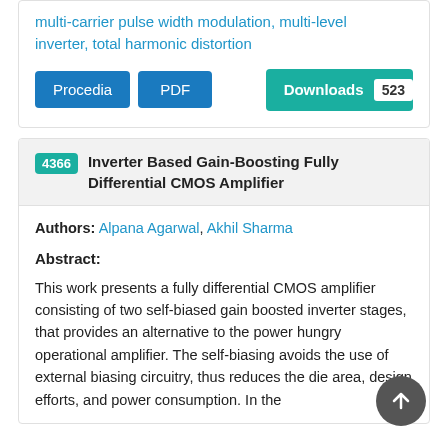multi-carrier pulse width modulation, multi-level inverter, total harmonic distortion
Procedia | PDF | Downloads 523
4366 Inverter Based Gain-Boosting Fully Differential CMOS Amplifier
Authors: Alpana Agarwal, Akhil Sharma
Abstract:
This work presents a fully differential CMOS amplifier consisting of two self-biased gain boosted inverter stages, that provides an alternative to the power hungry operational amplifier. The self-biasing avoids the use of external biasing circuitry, thus reduces the die area, design efforts, and power consumption. In the